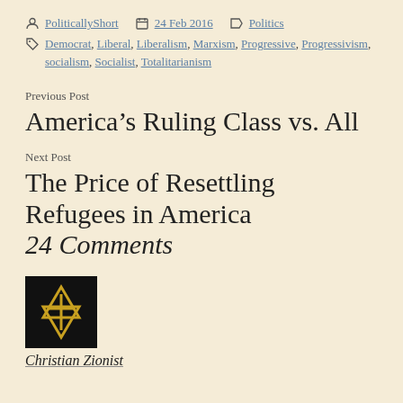PoliticallyShort  24 Feb 2016  Politics
Democrat, Liberal, Liberalism, Marxism, Progressive, Progressivism, socialism, Socialist, Totalitarianism
Previous Post
America's Ruling Class vs. All
Next Post
The Price of Resettling Refugees in America
24 Comments
[Figure (logo): Black square with gold Star of David overlaid with a Christian cross symbol]
Christian Zionist